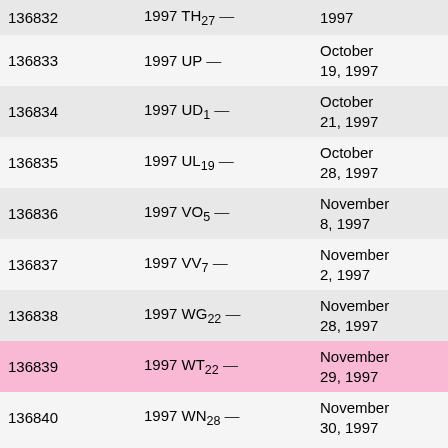| Number | Designation | Date | Name |
| --- | --- | --- | --- |
| 136832 | 1997 TH27 | 1997 | Cat... |
| 136833 | 1997 UP | October 19, 1997 | Klet... |
| 136834 | 1997 UD1 | October 21, 1997 | Ond... |
| 136835 | 1997 UL19 | October 28, 1997 | Kitt P... |
| 136836 | 1997 VO5 | November 8, 1997 | Oizu... |
| 136837 | 1997 VV7 | November 2, 1997 | Xing... |
| 136838 | 1997 WG22 | November 28, 1997 | Xing... |
| 136839 | 1997 WT22 | November 29, 1997 | Soc... |
| 136840 | 1997 WN28 | November 30, 1997 | Kitt P... |
| 136841 | 1997 WU50 | November 29, 1997 | Soc... |
| 136842 | 1997 XN9 | December 6, 1997 | Goo... Pigo... |
| 136843 | 1997 YX5 | December 25, 1997 | Oizu... |
| 136844 |  | December |  |